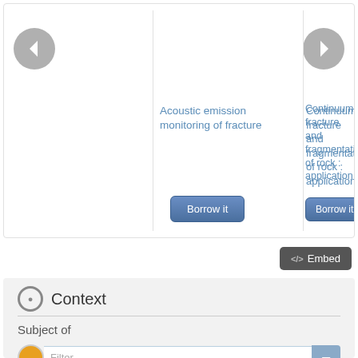[Figure (screenshot): Carousel widget showing two book cards. Left card: 'Acoustic emission monitoring of fracture' with a 'Borrow it' button. Right card (partially visible): 'Continuum fracture and fragmentation of rock : application' with a 'Borrow it' button. Navigation arrows on left and right sides.]
Acoustic emission monitoring of fracture
Continuum fracture and fragmentation of rock : application
</>  Embed
Context
Subject of
Filter
Wellbore damage zone experimental